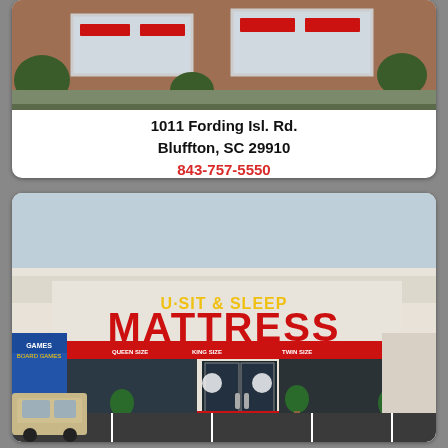[Figure (photo): Exterior photo of a brick retail storefront with red signage, plants in front, partially cropped at top]
1011 Fording Isl. Rd.
Bluffton, SC 29910
843-757-5550
[Figure (photo): Exterior photo of U-Sit & Sleep Mattress store in a strip mall with large red MATTRESS sign, parking lot in foreground, topiary plants flanking entrance]